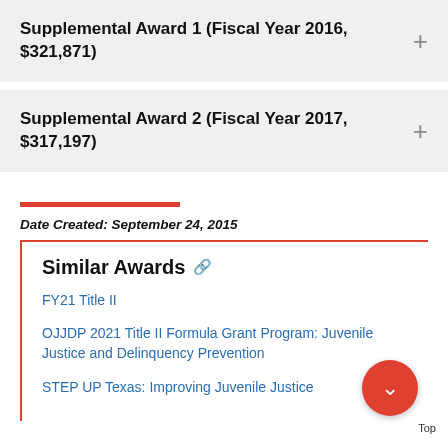Supplemental Award 1 (Fiscal Year 2016, $321,871)
Supplemental Award 2 (Fiscal Year 2017, $317,197)
Date Created: September 24, 2015
Similar Awards
FY21 Title II
OJJDP 2021 Title II Formula Grant Program: Juvenile Justice and Delinquency Prevention
STEP UP Texas: Improving Juvenile Justice